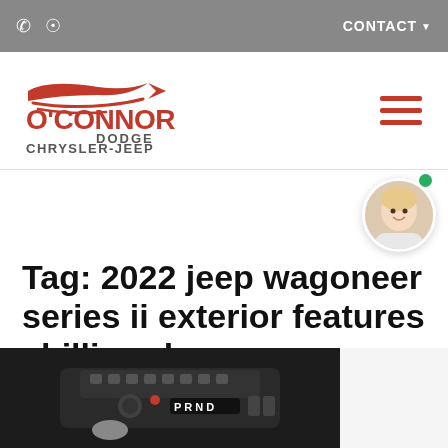CONTACT
[Figure (logo): O'Connor Dodge Chrysler-Jeep dealership logo with red swoosh/arrow graphic and red text]
Tag: 2022 jeep wagoneer series ii exterior features chilliwack
[Figure (photo): Car interior center console showing gear shift controls with PRND selector and other buttons, dark/moody lighting]